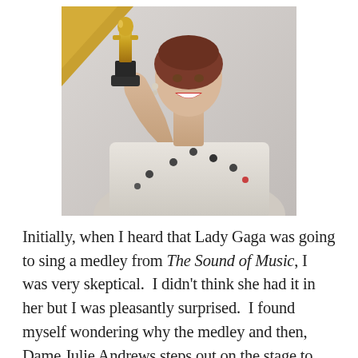[Figure (photo): A woman (Julianne Moore) smiling joyfully and holding up a gold Oscar statuette. She is wearing a strapless embellished gown. The background shows a gold geometric shape (Oscar backdrop). Photo is cropped at the waist.]
Initially, when I heard that Lady Gaga was going to sing a medley from The Sound of Music, I was very skeptical.  I didn't think she had it in her but I was pleasantly surprised.  I found myself wondering why the medley and then, Dame Julie Andrews steps out on the stage to the delight and surprise of the audience.  You could see that Lady Gaga was a bit emotional. With her usual gracefulness, Dame Julie said, "Dear Lady Gaga, thank you for that wonderful